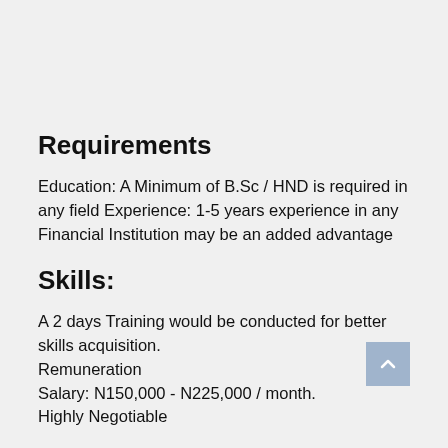Requirements
Education: A Minimum of B.Sc / HND is required in any field Experience: 1-5 years experience in any Financial Institution may be an added advantage
Skills:
A 2 days Training would be conducted for better skills acquisition.
Remuneration
Salary: N150,000 - N225,000 / month.
Highly Negotiable
Recommended: